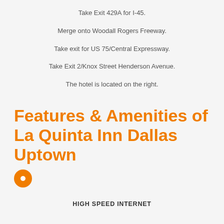Take Exit 429A for I-45.
Merge onto Woodall Rogers Freeway.
Take exit for US 75/Central Expressway.
Take Exit 2/Knox Street Henderson Avenue.
The hotel is located on the right.
Features & Amenities of La Quinta Inn Dallas Uptown
HIGH SPEED INTERNET
PETS ALLOWED